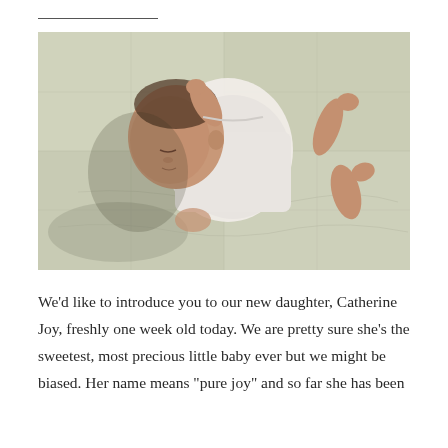[Figure (photo): A newborn baby lying on its back on a light green quilted blanket, wearing a white sleeveless onesie, arms slightly raised, eyes closed.]
We'd like to introduce you to our new daughter, Catherine Joy, freshly one week old today. We are pretty sure she's the sweetest, most precious little baby ever but we might be biased. Her name means "pure joy" and so far she has been